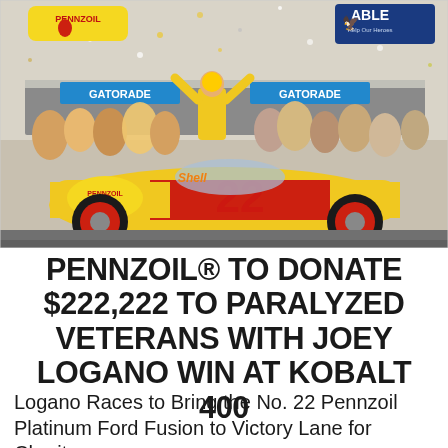[Figure (photo): NASCAR victory lane celebration photo showing Joey Logano in yellow racing suit standing on top of a yellow No. 22 Shell Pennzoil Ford Fusion race car, arms raised in victory. Crowd of people and confetti surround the car. PENNZOIL logo visible top left, ABLE (Help Our Heroes) logo top right, GATORADE signage visible in background.]
PENNZOIL® TO DONATE $222,222 TO PARALYZED VETERANS WITH JOEY LOGANO WIN AT KOBALT 400
Logano Races to Bring the No. 22 Pennzoil Platinum Ford Fusion to Victory Lane for Charity